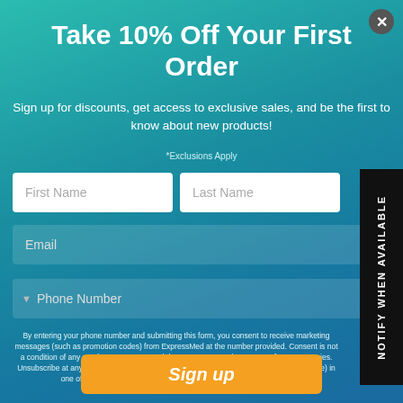Take 10% Off Your First Order
Sign up for discounts, get access to exclusive sales, and be the first to know about new products!
*Exclusions Apply
First Name
Last Name
Email
Phone Number
By entering your phone number and submitting this form, you consent to receive marketing messages (such as promotion codes) from ExpressMed at the number provided. Consent is not a condition of any purchase. Message and data rates may apply. Message frequency varies. Unsubscribe at any time by replying STOP or clicking the unsubscribe link (where available) in one of our messages. View our Privacy Policy and Terms of Service.
Sign up
NOTIFY WHEN AVAILABLE